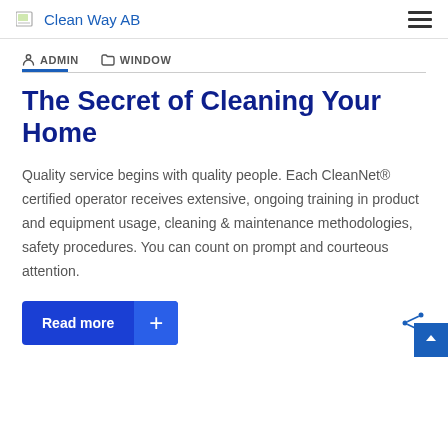Clean Way AB
ADMIN   WINDOW
The Secret of Cleaning Your Home
Quality service begins with quality people. Each CleanNet® certified operator receives extensive, ongoing training in product and equipment usage, cleaning & maintenance methodologies, safety procedures. You can count on prompt and courteous attention.
Read more